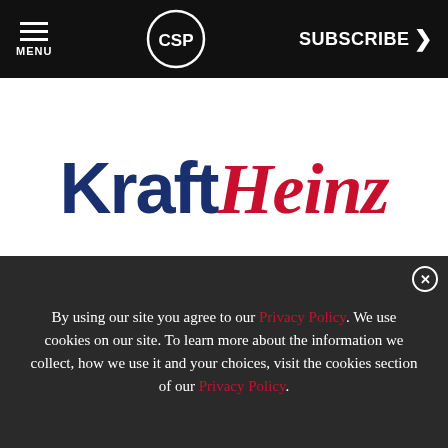MENU | CSP | SUBSCRIBE >
[Figure (logo): Kraft Heinz logo: 'Kraft' in dark navy bold sans-serif, 'Heinz' in red italic serif]
[Figure (infographic): Green advertisement banner: 'The Most Trusted Resource For Foodservice' with National Restaurant Association Show 2023 badge]
By using our site you agree to our Privacy Policy. We use cookies on our site. To learn more about the information we collect, how we use it and your choices, visit the cookies section of our Privacy Policy.